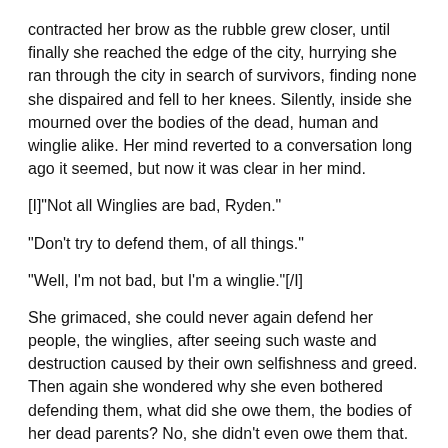contracted her brow as the rubble grew closer, until finally she reached the edge of the city, hurrying she ran through the city in search of survivors, finding none she dispaired and fell to her knees. Silently, inside she mourned over the bodies of the dead, human and winglie alike. Her mind reverted to a conversation long ago it seemed, but now it was clear in her mind.
[I]"Not all Winglies are bad, Ryden."
"Don't try to defend them, of all things."
"Well, I'm not bad, but I'm a winglie."[/I]
She grimaced, she could never again defend her people, the winglies, after seeing such waste and destruction caused by their own selfishness and greed. Then again she wondered why she even bothered defending them, what did she owe them, the bodies of her dead parents? No, she didn't even owe them that. She would have been there longer if not for a voice yelling, STOP, from within the city. Gathering herself up she ran until she spotted two dragoons fighting another dragoon. The one that was fighting against the odds, was actually doing quite well. He